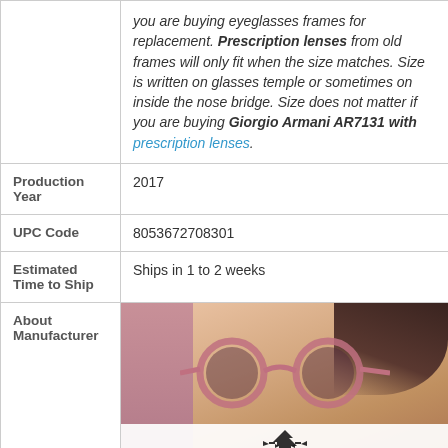| Field | Value |
| --- | --- |
| (italic text about prescription lenses) | you are buying eyeglasses frames for replacement. Prescription lenses from old frames will only fit when the size matches. Size is written on glasses temple or sometimes on inside the nose bridge. Size does not matter if you are buying Giorgio Armani AR7131 with prescription lenses. |
| Production Year | 2017 |
| UPC Code | 8053672708301 |
| Estimated Time to Ship | Ships in 1 to 2 weeks |
| About Manufacturer | [Giorgio Armani product image] |
[Figure (photo): Woman wearing pink round Giorgio Armani sunglasses against a pink background, with Giorgio Armani eagle logo and brand name below]